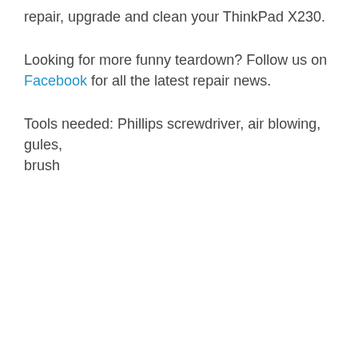repair, upgrade and clean your ThinkPad X230.
Looking for more funny teardown? Follow us on Facebook for all the latest repair news.
Tools needed: Phillips screwdriver, air blowing, gules, brush